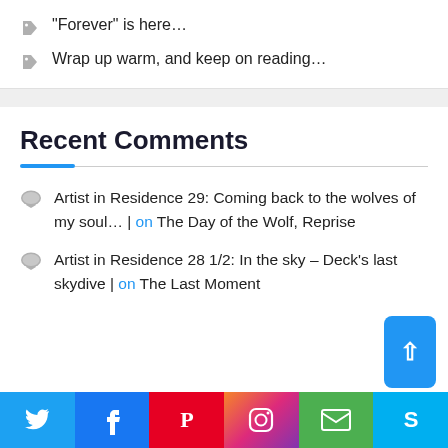“Forever” is here…
Wrap up warm, and keep on reading…
Recent Comments
Artist in Residence 29: Coming back to the wolves of my soul… | on The Day of the Wolf, Reprise
Artist in Residence 28 1/2: In the sky – Deck’s last skydive | on The Last Moment